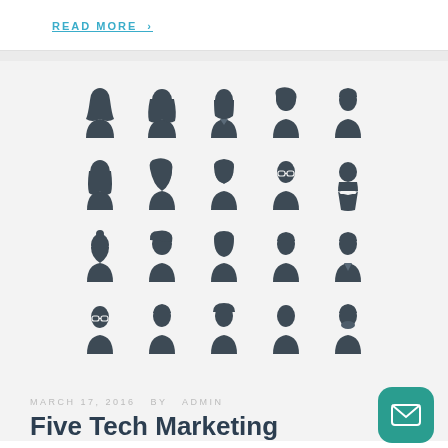READ MORE >
[Figure (illustration): Grid of 20 flat avatar/person icons arranged in 4 rows and 5 columns, showing various male and female silhouette profiles in dark grey/slate color on a light grey background.]
MARCH 17, 2016  BY  ADMIN
Five Tech Marketing